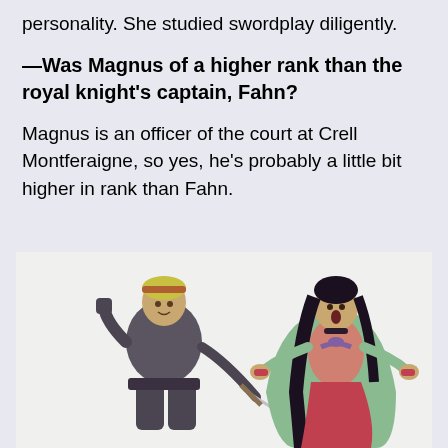personality. She studied swordplay diligently.
—Was Magnus of a higher rank than the royal knight's captain, Fahn?
Magnus is an officer of the court at Crell Montferaigne, so yes, he's probably a little bit higher in rank than Fahn.
[Figure (illustration): Two character illustrations: left shows a male armored knight with blonde hair holding a sword; right shows a female character with long dark hair wearing a green cape and red outfit.]